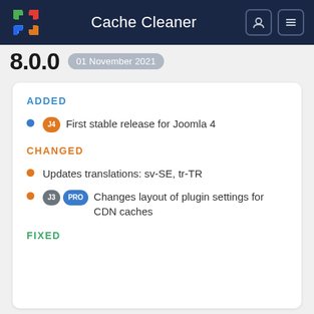Cache Cleaner
8.0.0   01 November 2021
ADDED
J4  First stable release for Joomla 4
CHANGED
Updates translations: sv-SE, tr-TR
J3 PRO  Changes layout of plugin settings for CDN caches
FIXED